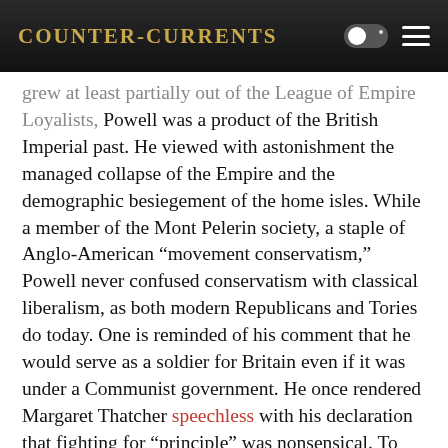Counter-Currents
grew at least partially out of the League of Empire Loyalists, Powell was a product of the British Imperial past. He viewed with astonishment the managed collapse of the Empire and the demographic besiegement of the home isles. While a member of the Mont Pelerin society, a staple of Anglo-American “movement conservatism,” Powell never confused conservatism with classical liberalism, as both modern Republicans and Tories do today. One is reminded of his comment that he would serve as a soldier for Britain even if it was under a Communist government. He once rendered Margaret Thatcher speechless with his declaration that fighting for “principle” was nonsensical. To Powell, only the real existing country with its real existing institutions mattered. In words oft quoted but less practiced by Anglo-American conservatives, Powell’s conservatism was the negation of ideology.